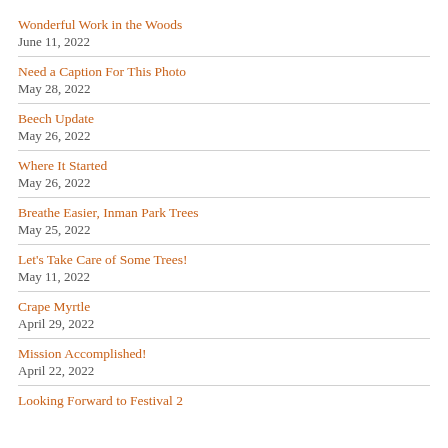Wonderful Work in the Woods
June 11, 2022
Need a Caption For This Photo
May 28, 2022
Beech Update
May 26, 2022
Where It Started
May 26, 2022
Breathe Easier, Inman Park Trees
May 25, 2022
Let's Take Care of Some Trees!
May 11, 2022
Crape Myrtle
April 29, 2022
Mission Accomplished!
April 22, 2022
Looking Forward to Festival 2